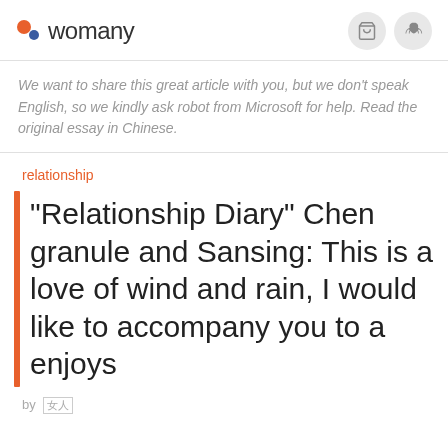womany
We want to share this great article with you, but we don't speak English, so we kindly ask robot from Microsoft for help. Read the original essay in Chinese.
relationship
"Relationship Diary" Chen granule and Sansing: This is a love of wind and rain, I would like to accompany you to a enjoys
by 女人